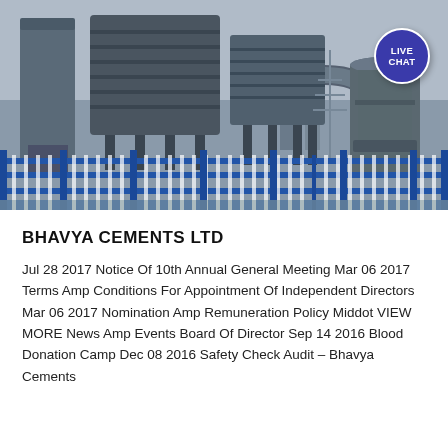[Figure (photo): Industrial cement plant facility with large grey dust collector towers, blue metal fencing in the foreground, and industrial equipment including a cylindrical mill in the background. Overcast sky visible.]
BHAVYA CEMENTS LTD
Jul 28 2017 Notice Of 10th Annual General Meeting Mar 06 2017 Terms Amp Conditions For Appointment Of Independent Directors Mar 06 2017 Nomination Amp Remuneration Policy Middot VIEW MORE News Amp Events Board Of Director Sep 14 2016 Blood Donation Camp Dec 08 2016 Safety Check Audit – Bhavya Cements